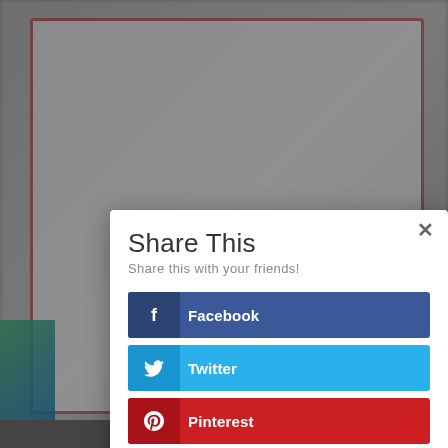[Figure (screenshot): Social share dialog modal with options for Facebook, Twitter, Pinterest, reddit, and more (...)]
Share This
Share this with your friends!
Facebook
Twitter
Pinterest
reddit
...